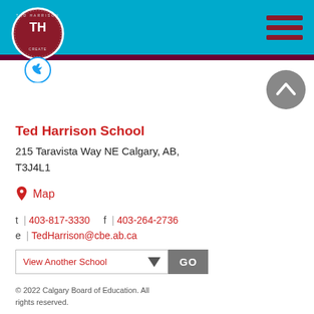[Figure (logo): Ted Harrison School logo circle with TH initials, maroon/dark red color, with Twitter bird icon badge below]
[Figure (logo): Hamburger menu icon (three red horizontal lines) in top right corner]
[Figure (other): Gray circular scroll-to-top button with upward chevron arrow]
Ted Harrison School
215 Taravista Way NE Calgary, AB, T3J4L1
Map
t  |  403-817-3330      f  |  403-264-2736
e  |  TedHarrison@cbe.ab.ca
[Figure (other): View Another School dropdown selector with GO button]
© 2022 Calgary Board of Education. All rights reserved.
Privacy Policy  •  System Status
[Figure (logo): Calgary Board of Education logo with building icon and text]
[Figure (logo): schoolBundle logo with leaf/star icon]